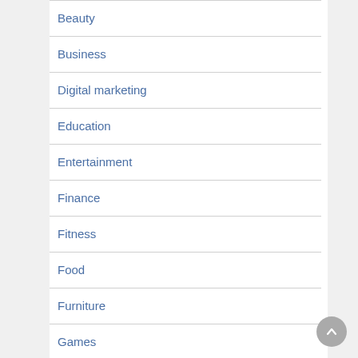Beauty
Business
Digital marketing
Education
Entertainment
Finance
Fitness
Food
Furniture
Games
General